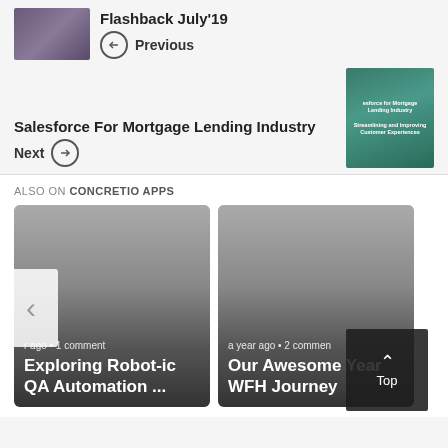Flashback July’19
← Previous
Salesforce For Mortgage Lending Industry
Next →
ALSO ON CONCRETIO APPS
r ago • 1 comment
Exploring Robot-ic QA Automation …
a year ago • 2 commen
Our Awesome Year WFH Journey
Top